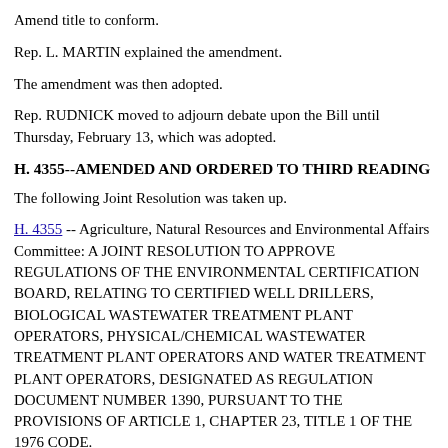Amend title to conform.
Rep. L. MARTIN explained the amendment.
The amendment was then adopted.
Rep. RUDNICK moved to adjourn debate upon the Bill until Thursday, February 13, which was adopted.
H. 4355--AMENDED AND ORDERED TO THIRD READING
The following Joint Resolution was taken up.
H. 4355 -- Agriculture, Natural Resources and Environmental Affairs Committee: A JOINT RESOLUTION TO APPROVE REGULATIONS OF THE ENVIRONMENTAL CERTIFICATION BOARD, RELATING TO CERTIFIED WELL DRILLERS, BIOLOGICAL WASTEWATER TREATMENT PLANT OPERATORS, PHYSICAL/CHEMICAL WASTEWATER TREATMENT PLANT OPERATORS AND WATER TREATMENT PLANT OPERATORS, DESIGNATED AS REGULATION DOCUMENT NUMBER 1390, PURSUANT TO THE PROVISIONS OF ARTICLE 1, CHAPTER 23, TITLE 1 OF THE 1976 CODE.